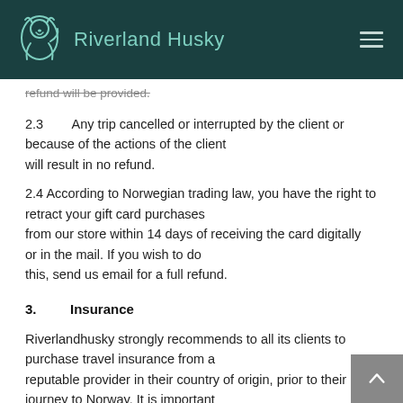Riverland Husky
refund will be provided.
2.3        Any trip cancelled or interrupted by the client or because of the actions of the client will result in no refund.
2.4 According to Norwegian trading law, you have the right to retract your gift card purchases from our store within 14 days of receiving the card digitally or in the mail. If you wish to do this, send us email for a full refund.
3.        Insurance
Riverlandhusky strongly recommends to all its clients to purchase travel insurance from a reputable provider in their country of origin, prior to their journey to Norway. It is important